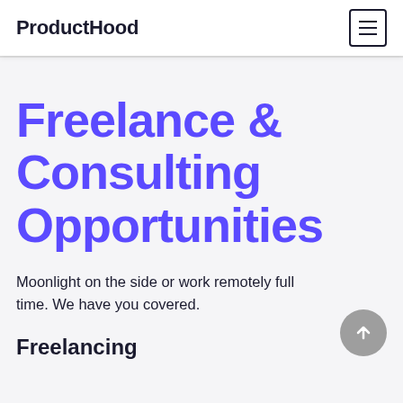ProductHood
Freelance & Consulting Opportunities
Moonlight on the side or work remotely full time. We have you covered.
Freelancing